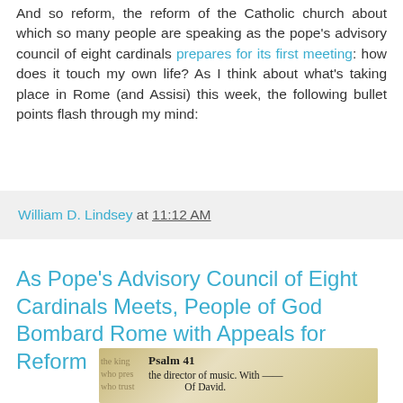And so reform, the reform of the Catholic church about which so many people are speaking as the pope's advisory council of eight cardinals prepares for its first meeting: how does it touch my own life? As I think about what's taking place in Rome (and Assisi) this week, the following bullet points flash through my mind:
William D. Lindsey at 11:12 AM
As Pope's Advisory Council of Eight Cardinals Meets, People of God Bombard Rome with Appeals for Reform
[Figure (photo): Close-up photograph of a Bible open to Psalm 41, showing text including 'Psalm 41', 'the director of music. With' and 'Of David']